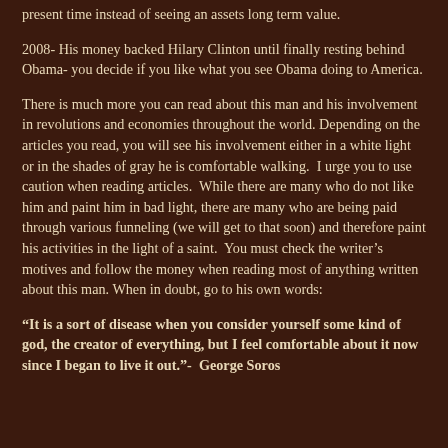present time instead of seeing an assets long term value.
2008- His money backed Hilary Clinton until finally resting behind Obama- you decide if you like what you see Obama doing to America.
There is much more you can read about this man and his involvement in revolutions and economies throughout the world. Depending on the articles you read, you will see his involvement either in a white light or in the shades of gray he is comfortable walking.  I urge you to use caution when reading articles.  While there are many who do not like him and paint him in bad light, there are many who are being paid through various funneling (we will get to that soon) and therefore paint his activities in the light of a saint.  You must check the writer's motives and follow the money when reading most of anything written about this man. When in doubt, go to his own words:
“It is a sort of disease when you consider yourself some kind of god, the creator of everything, but I feel comfortable about it now since I began to live it out.”-  George Soros